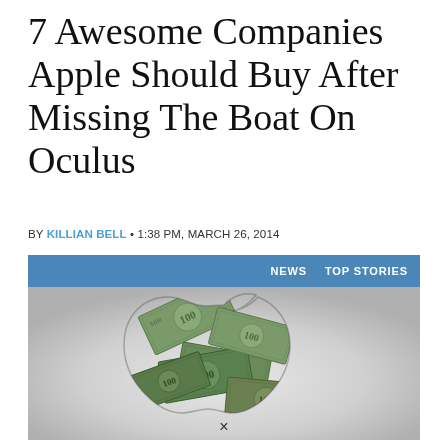7 Awesome Companies Apple Should Buy After Missing The Boat On Oculus
BY KILLIAN BELL • 1:38 PM, MARCH 26, 2014
[Figure (illustration): Apple logo shape filled with hundred dollar bills on a gray gradient background, with a blue header bar showing NEWS and TOP STORIES labels]